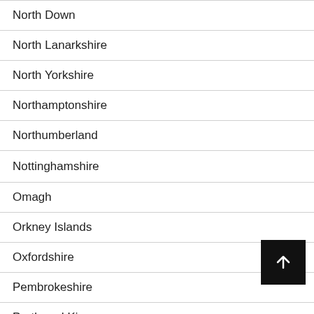North Down
North Lanarkshire
North Yorkshire
Northamptonshire
Northumberland
Nottinghamshire
Omagh
Orkney Islands
Oxfordshire
Pembrokeshire
Perth and Kinross